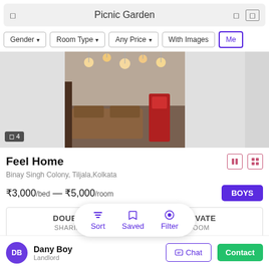Picnic Garden
Gender ▾
Room Type ▾
Any Price ▾
With Images
[Figure (photo): Interior room photo showing hanging lights and furniture]
Feel Home
Binay Singh Colony, Tiljala,Kolkata
₹3,000/bed — ₹5,000/room
BOYS
| DOUBLE SHARING | PRIVATE ROOM |
| --- | --- |
Rent property in the heart of Kolkata city. Affordable rental propert… Read more
1.0 km from Picnic Garden
Sort
Saved
Filter
Dany Boy
Landlord
Chat
Contact